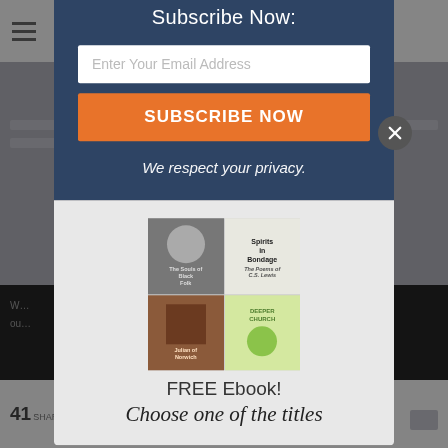Search Our Website
from the Divan of Hafez
Subscribe Now:
Enter Your Email Address
SUBSCRIBE NOW
We respect your privacy.
[Figure (illustration): Grid of four book covers: The Souls of Black Folk, Spirits in Bondage by C.S. Lewis, Julian of Norwich, and Deeper Church (illustrated tree diagram)]
FREE Ebook!
Choose one of the titles